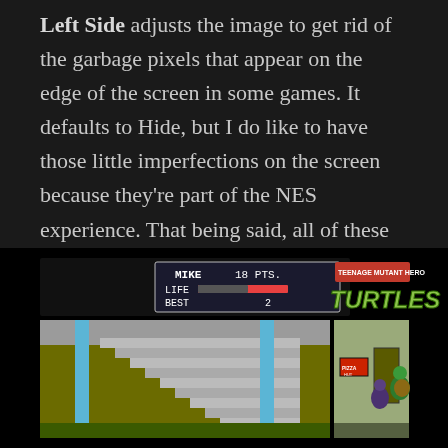Left Side adjusts the image to get rid of the garbage pixels that appear on the edge of the screen in some games. It defaults to Hide, but I do like to have those little imperfections on the screen because they're part of the NES experience. That being said, all of these screenshots were captured with the left side hidden and the option only affects games that actually do have garbage pixels in the overscan area, such as Super Mario Bros. 3.
[Figure (screenshot): Two NES game screenshots side by side: left shows Teenage Mutant Ninja Turtles game with score display (MIKE 18 PTS., LIFE bar, BEST 2) and a staircase level. Right shows the TEENAGE MUTANT HERO TURTLES title logo and a game scene with a building exterior and turtle character fighting.]